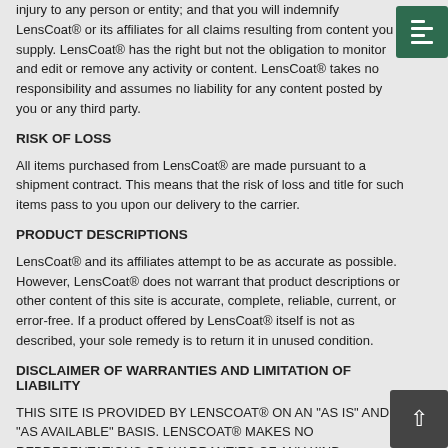injury to any person or entity; and that you will indemnify LensCoat® or its affiliates for all claims resulting from content you supply. LensCoat® has the right but not the obligation to monitor and edit or remove any activity or content. LensCoat® takes no responsibility and assumes no liability for any content posted by you or any third party.
RISK OF LOSS
All items purchased from LensCoat® are made pursuant to a shipment contract. This means that the risk of loss and title for such items pass to you upon our delivery to the carrier.
PRODUCT DESCRIPTIONS
LensCoat® and its affiliates attempt to be as accurate as possible. However, LensCoat® does not warrant that product descriptions or other content of this site is accurate, complete, reliable, current, or error-free. If a product offered by LensCoat® itself is not as described, your sole remedy is to return it in unused condition.
DISCLAIMER OF WARRANTIES AND LIMITATION OF LIABILITY
THIS SITE IS PROVIDED BY LENSCOAT® ON AN "AS IS" AND "AS AVAILABLE" BASIS. LENSCOAT® MAKES NO REPRESENTATIONS OR WARRANTIES OF ANY KIND, EXPRESS OR IMPLIED, AS TO THE OPERATION OF THIS SITE OR THE INFORMATION,